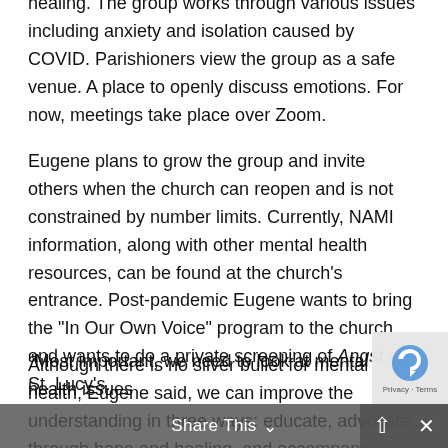healing. The group works through various issues including anxiety and isolation caused by COVID. Parishioners view the group as a safe venue. A place to openly discuss emotions. For now, meetings take place over Zoom.
Eugene plans to grow the group and invite others when the church can reopen and is not constrained by number limits. Currently, NAMI information, along with other mental health resources, can be found at the church’s entrance. Post-pandemic Eugene wants to bring the “In Our Own Voice” program to the church and wants to do a private screening of Angst at St. Lucy’s.
Although there is no silver bullet for mental health, Eugene said, we can improve the understanding in three ways: educate, advocate through hope and healing, and accompany through support.
“Most important, we need to look at mental health issues
Share This